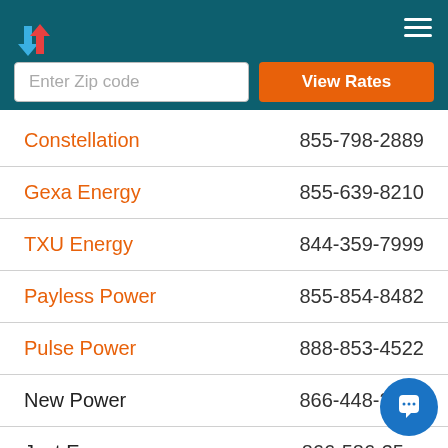Energy provider directory with zip code search and View Rates button
| Company | Phone |
| --- | --- |
| Constellation | 855-798-2889 |
| Gexa Energy | 855-639-8210 |
| TXU Energy | 844-359-7999 |
| Payless Power | 855-854-8482 |
| Pulse Power | 888-853-4522 |
| New Power | 866-448-2720 |
| Just Energy | 866-586-35?? |